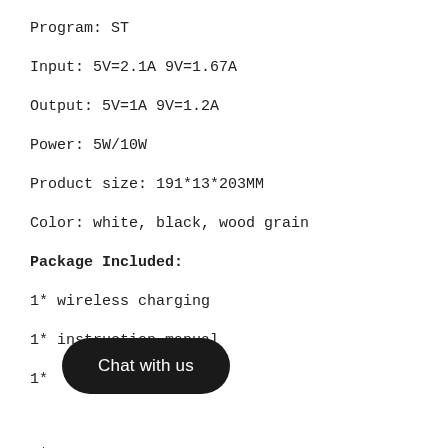Program: ST
Input: 5V=2.1A 9V=1.67A
Output: 5V=1A 9V=1.2A
Power: 5W/10W
Product size: 191*13*203MM
Color: white, black, wood grain
Package Included:
1* wireless charging
1* instruction manual
1*
1*